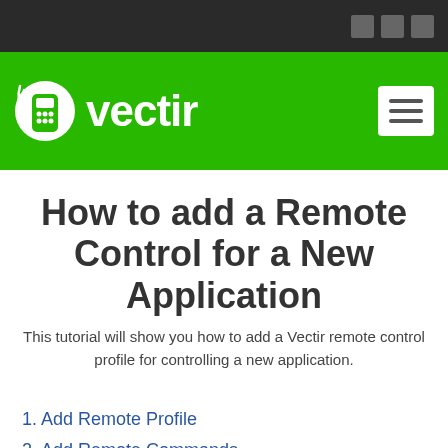[Figure (logo): Vectir logo on green header with white remote control icon and white text 'vectir', plus hamburger menu button]
How to add a Remote Control for a New Application
This tutorial will show you how to add a Vectir remote control profile for controlling a new application.
1. Add Remote Profile
2. Add Remote Commands